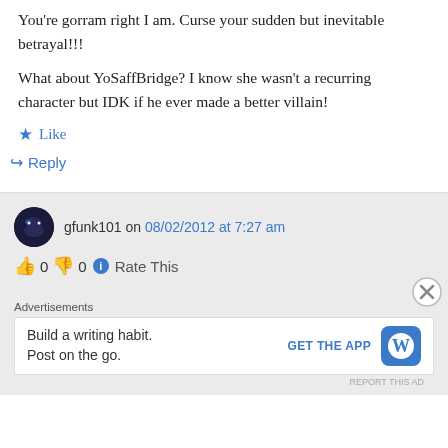You're gorram right I am. Curse your sudden but inevitable betrayal!!!
What about YoSaffBridge? I know she wasn't a recurring character but IDK if he ever made a better villain!
★ Like
↪ Reply
gfunk101 on 08/02/2012 at 7:27 am
👍 0 👎 0 ℹ Rate This
Advertisements
Build a writing habit. Post on the go.
GET THE APP